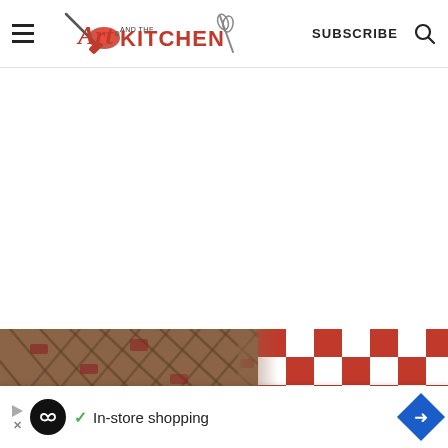Art and the Kitchen — SUBSCRIBE
[Figure (photo): Photo of a wicker/wooden grill basket surface on the left half and red-and-white checkered picnic cloth on the right half]
In-store shopping